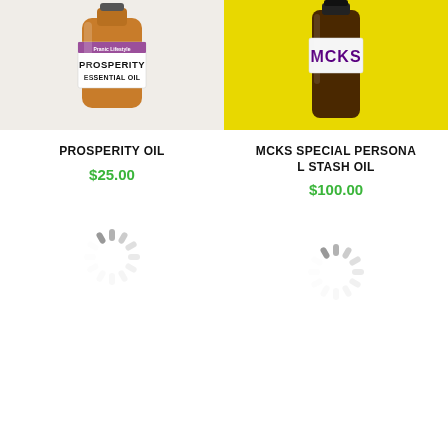[Figure (photo): Amber bottle of Prosperity Essential Oil from Pranic Lifestyle on white background]
PROSPERITY OIL
$25.00
[Figure (photo): Dark amber bottle with MCKS label on yellow background]
MCKS SPECIAL PERSONAL STASH OIL
$100.00
[Figure (other): Loading spinner icon]
[Figure (other): Loading spinner icon]